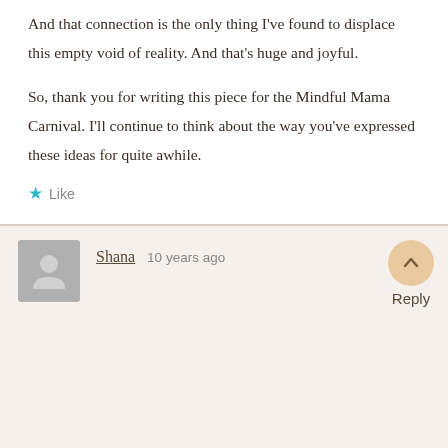And that connection is the only thing I've found to displace this empty void of reality. And that's huge and joyful.
So, thank you for writing this piece for the Mindful Mama Carnival. I'll continue to think about the way you've expressed these ideas for quite awhile.
★ Like
Shana   10 years ago
Reply